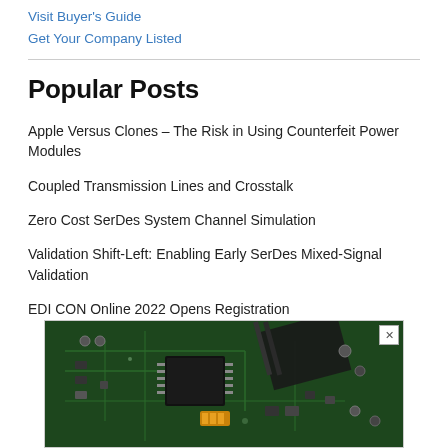Visit Buyer's Guide
Get Your Company Listed
Popular Posts
Apple Versus Clones – The Risk in Using Counterfeit Power Modules
Coupled Transmission Lines and Crosstalk
Zero Cost SerDes System Channel Simulation
Validation Shift-Left: Enabling Early SerDes Mixed-Signal Validation
EDI CON Online 2022 Opens Registration
[Figure (photo): Close-up photograph of a green printed circuit board with electronic components including chips, capacitors, and connectors. A flexible cable is visible connecting components.]